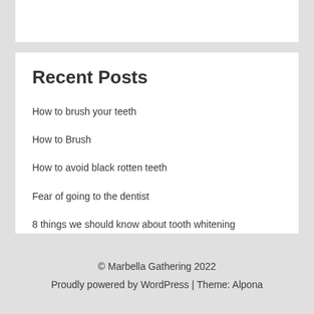Recent Posts
How to brush your teeth
How to Brush
How to avoid black rotten teeth
Fear of going to the dentist
8 things we should know about tooth whitening
© Marbella Gathering 2022
Proudly powered by WordPress | Theme: Alpona